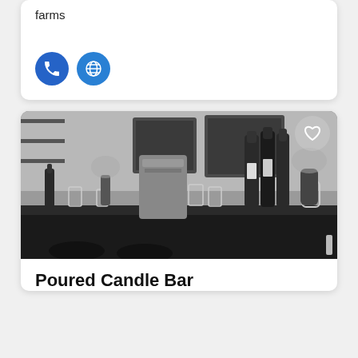farms
[Figure (illustration): Phone icon (blue circle with white phone handset) and globe/web icon (blue circle with white globe grid)]
[Figure (photo): Black and white photograph of a bar counter with wine bottles, glasses, flower vases, and a large metal container, with framed chalkboard menus in the background and a heart icon overlay in the top right corner]
Poured Candle Bar